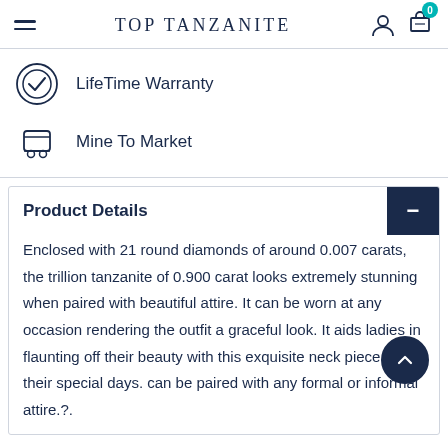TOP TANZANITE
LifeTime Warranty
Mine To Market
Product Details
Enclosed with 21 round diamonds of around 0.007 carats, the trillion tanzanite of 0.900 carat looks extremely stunning when paired with beautiful attire. It can be worn at any occasion rendering the outfit a graceful look. It aids ladies in flaunting off their beauty with this exquisite neck piece on their special days. can be paired with any formal or informal attire.?.
PRODUCT INFORMATION